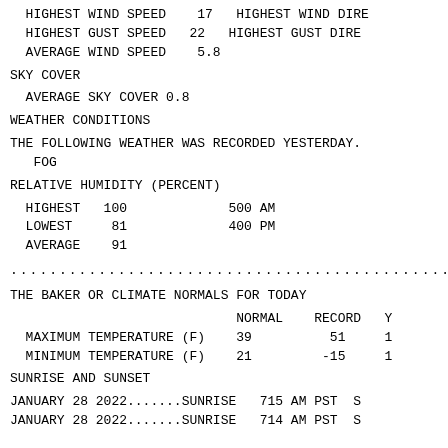HIGHEST WIND SPEED    17   HIGHEST WIND DIRE
  HIGHEST GUST SPEED   22   HIGHEST GUST DIRE
  AVERAGE WIND SPEED    5.8
SKY COVER
AVERAGE SKY COVER 0.8
WEATHER CONDITIONS
THE FOLLOWING WEATHER WAS RECORDED YESTERDAY.
   FOG
RELATIVE HUMIDITY (PERCENT)
HIGHEST   100             500 AM
  LOWEST     81             400 PM
  AVERAGE    91
...............................................
THE BAKER OR CLIMATE NORMALS FOR TODAY
|  | NORMAL | RECORD | Y |
| --- | --- | --- | --- |
| MAXIMUM TEMPERATURE (F) | 39 | 51 | 1 |
| MINIMUM TEMPERATURE (F) | 21 | -15 | 1 |
SUNRISE AND SUNSET
JANUARY 28 2022.......SUNRISE   715 AM PST  S
JANUARY 28 2022.......SUNRISE   714 AM PST  S